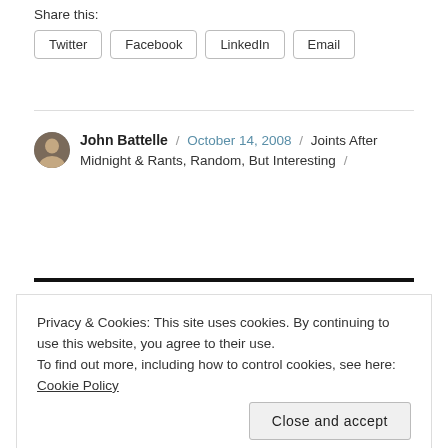Share this:
Twitter
Facebook
LinkedIn
Email
John Battelle / October 14, 2008 / Joints After Midnight & Rants, Random, But Interesting /
Privacy & Cookies: This site uses cookies. By continuing to use this website, you agree to their use.
To find out more, including how to control cookies, see here: Cookie Policy
Close and accept